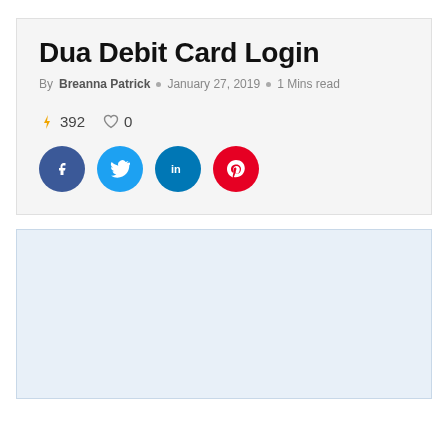Dua Debit Card Login
By Breanna Patrick  o  January 27, 2019  o  1 Mins read
⚡ 392   ♡ 0
[Figure (infographic): Social share buttons: Facebook (dark blue circle with f), Twitter (light blue circle with bird), LinkedIn (blue circle with in), Pinterest (red circle with P)]
[Figure (other): Light blue empty content box with border]